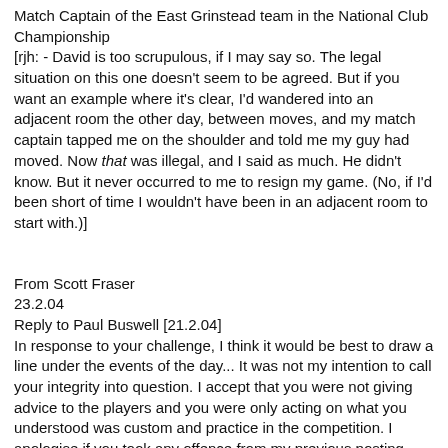Match Captain of the East Grinstead team in the National Club Championship
[rjh: - David is too scrupulous, if I may say so. The legal situation on this one doesn't seem to be agreed. But if you want an example where it's clear, I'd wandered into an adjacent room the other day, between moves, and my match captain tapped me on the shoulder and told me my guy had moved. Now that was illegal, and I said as much. He didn't know. But it never occurred to me to resign my game. (No, if I'd been short of time I wouldn't have been in an adjacent room to start with.)]
From Scott Fraser
23.2.04
Reply to Paul Buswell [21.2.04]
In response to your challenge, I think it would be best to draw a line under the events of the day... It was not my intention to call your integrity into question. I accept that you were not giving advice to the players and you were only acting on what you understood was custom and practice in the competition. I apologise if you took any offence from my previous posting.
    The point of my previous contribution was that in the absence of any rules, a less scrupulous person may take advantage. I have taken part in many events as Captain/Manager, 4NCL, Mid Sussex League, EPSCA, NYCA and SCCU, and it has always been my